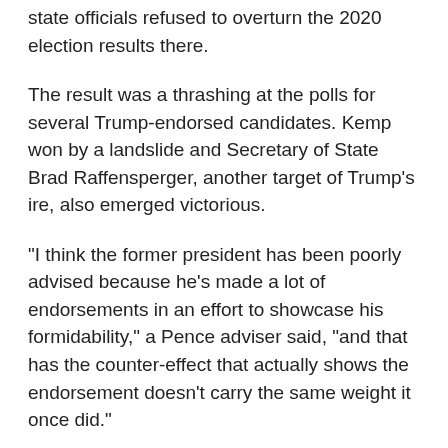state officials refused to overturn the 2020 election results there.
The result was a thrashing at the polls for several Trump-endorsed candidates. Kemp won by a landslide and Secretary of State Brad Raffensperger, another target of Trump's ire, also emerged victorious.
“I think the former president has been poorly advised because he’s made a lot of endorsements in an effort to showcase his formidability,” a Pence adviser said, “and that has the counter-effect that actually shows the endorsement doesn’t carry the same weight it once did.”
Gregg Keller, a Missouri-based Republican strategist, said it’s essential for an “ideologically and culturally diverse” party to have “politically countervailing forces” against some of Trump’s ill-advised endorsement picks.
“It shows that while some line Donald Trump is virtually all in …